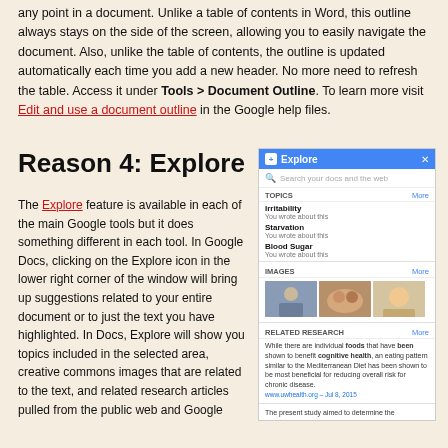any point in a document.  Unlike a table of contents in Word, this outline always stays on the side of the screen, allowing you to easily navigate the document.  Also, unlike the table of contents, the outline is updated automatically each time you add a new header.  No more need to refresh the table.  Access it under Tools > Document Outline.  To learn more visit Edit and use a document outline in the Google help files.
Reason 4: Explore
The Explore feature is available in each of the main Google tools but it does something different in each tool.  In Google Docs, clicking on the Explore icon in the lower right corner of the window will bring up suggestions related to your entire document or to just the text you have highlighted.  In Docs, Explore will show you topics included in the selected area, creative commons images that are related to the text, and related research articles pulled from the public web and Google
[Figure (screenshot): Screenshot of Google Docs Explore panel showing Topics (Irritability, Starvation, Blood Sugar), Images section with three food/people thumbnails, and Related Research section with text about Mediterranean Diet and cognitive health.]